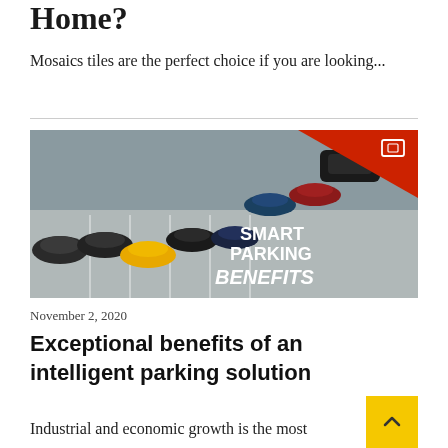Home?
Mosaics tiles are the perfect choice if you are looking...
[Figure (photo): Aerial view of cars in a parking lot with text overlay reading SMART PARKING BENEFITS and a red triangle in the top-right corner with a gallery icon]
November 2, 2020
Exceptional benefits of an intelligent parking solution
Industrial and economic growth is the most